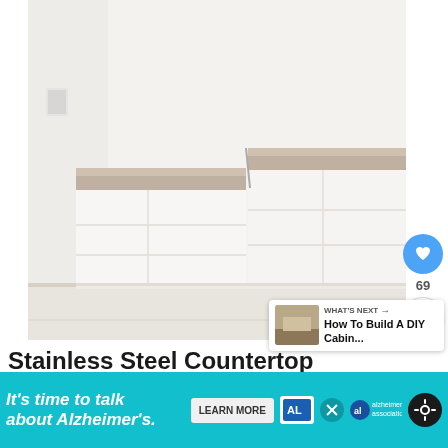[Figure (photo): Kitchen with white glossy cabinets and stainless steel/brushed metal countertop against white walls, thermostat visible on wall]
69
[Figure (other): WHAT'S NEXT arrow panel with thumbnail showing 'How To Build A DIY Cabin...']
Stainless Steel Countertop...
[Figure (other): Ad banner: It's time to talk about Alzheimer's. LEARN MORE. Alzheimer's association logo. Close button and other icons.]